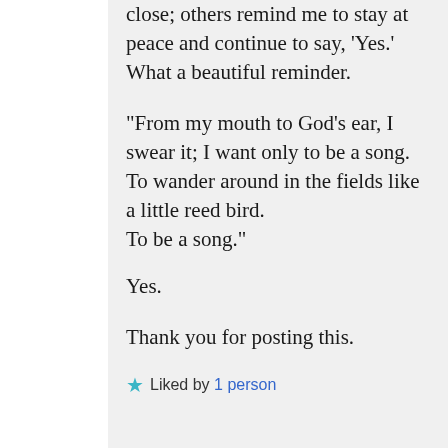close; others remind me to stay at peace and continue to say, ‘Yes.’ What a beautiful reminder.
“From my mouth to God’s ear, I swear it; I want only to be a song.
To wander around in the fields like a little reed bird.
To be a song.”
Yes.
Thank you for posting this.
★ Liked by 1 person